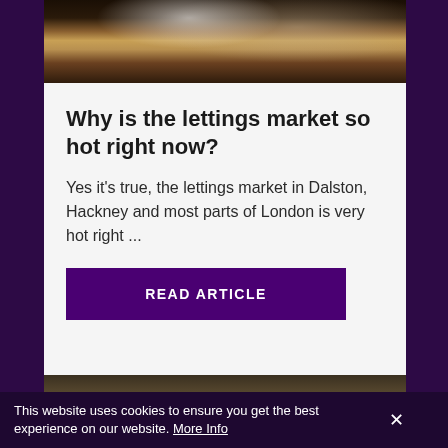[Figure (photo): Top portion of a stack of pancakes with powdered sugar on a dark surface]
Why is the lettings market so hot right now?
Yes it's true, the lettings market in Dalston, Hackney and most parts of London is very hot right ...
READ ARTICLE
[Figure (photo): Bottom partial photo, dark toned interior image]
This website uses cookies to ensure you get the best experience on our website. More Info